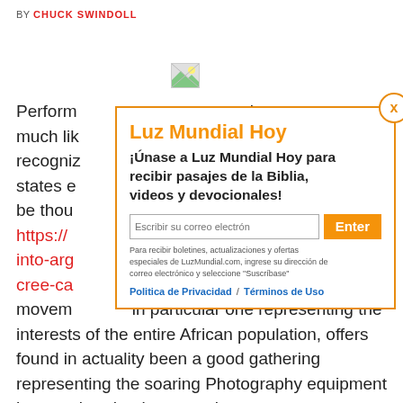BY CHUCK SWINDOLL
[Figure (photo): Broken/missing image placeholder]
Perform... eels much lik... Most recogniz... United states e... nos can be thou... https://...-ying-into-arg...-g-riv-cree-ca...
¡Únase a Luz Mundial Hoy para recibir pasajes de la Biblia, videos y devocionales!
movem... in particular one representing the interests of the entire African population, offers found in actuality been a good gathering representing the soaring Photography equipment bourgeois school constantly. The...